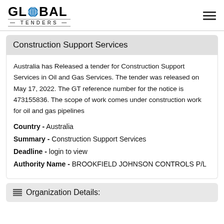GLOBAL TENDERS
Construction Support Services
Australia has Released a tender for Construction Support Services in Oil and Gas Services. The tender was released on May 17, 2022. The GT reference number for the notice is 473155836. The scope of work comes under construction work for oil and gas pipelines
Country - Australia
Summary - Construction Support Services
Deadline - login to view
Authority Name - BROOKFIELD JOHNSON CONTROLS P/L
Organization Details: